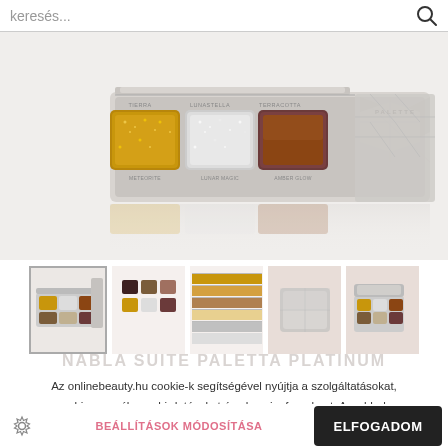keresés...
[Figure (photo): Product photo of a Nabla eyeshadow palette with metallic silver case showing 6 pans: gold glitter, silver glitter, and dark brown shades visible, with reflection below]
[Figure (photo): Thumbnail strip of 5 product images: palette closed (active/selected with border), 6 individual pans swatched, swatch stripes close-up, palette case closed top view, palette open angled view]
Az onlinebeauty.hu cookie-k segítségével nyújtja a szolgáltatásokat, szabja személyre a hirdetéseket és elemzi a forgalmat. A webhely használatával elfogadod a cookie-k használatát.
NABLA SUITE PALETTA PLATINUM
8 225 Ft
BEÁLLÍTÁSOK MÓDOSÍTÁSA
ELFOGADOM